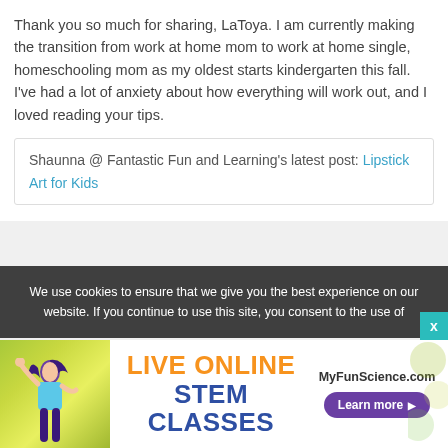Thank you so much for sharing, LaToya. I am currently making the transition from work at home mom to work at home single, homeschooling mom as my oldest starts kindergarten this fall. I've had a lot of anxiety about how everything will work out, and I loved reading your tips.
Shaunna @ Fantastic Fun and Learning's latest post: Lipstick Art for Kids
We use cookies to ensure that we give you the best experience on our website. If you continue to use this site, you consent to the use of
[Figure (infographic): Advertisement banner for MyFunScience.com Live Online STEM Classes with a girl figure, orange and blue text, and a Learn more button]